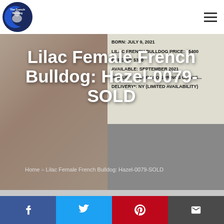[Figure (logo): The French Bulldog circular logo with crescent moon and dog silhouette]
[Figure (photo): Close-up photo of a lilac French Bulldog puppy on left side, with text overlay showing puppy details: BORN: JULY 9, 2021, LILAC FRENCH BULLDOG PRICE: $5400, DEPOSIT: $300, PICKUP*: COLORADO SPRINGS OR MIS..., and text about DELIVERY (LIMITED AVAILABILITY)]
Lilac Female French Bulldog: Hazel-0079-SOLD
Home » Lilac Female French Bulldog: Hazel-0079-SOLD
June 24, 2021 by The French Bulldog
Hailey has a lilac female French Bulldog that has...
[Figure (infographic): Social share bar with Facebook, Twitter, Pinterest, and Email buttons]